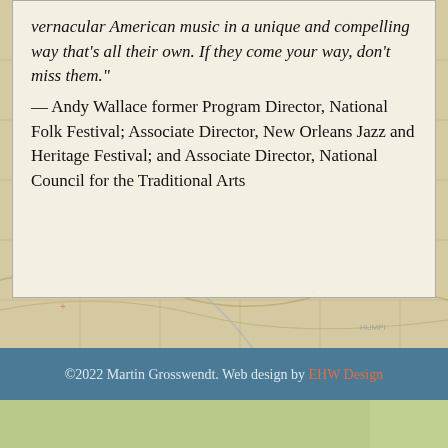vernacular American music in a unique and compelling way that's all their own. If they come your way, don't miss them."
— Andy Wallace former Program Director, National Folk Festival; Associate Director, New Orleans Jazz and Heritage Festival; and Associate Director, National Council for the Traditional Arts
©2022 Martin Grosswendt. Web design by EHW Design